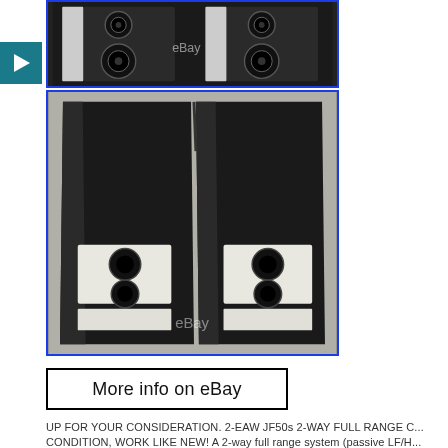[Figure (photo): Two black EAW JF50 speaker enclosures photographed from front angle, showing dual speaker drivers, with eBay watermark]
[Figure (photo): Two black EAW JF50 speaker enclosures photographed from side/back angle showing ports and labels, with eBay watermark]
More info on eBay
UP FOR YOUR CONSIDERATION. 2-EAW JF50s 2-WAY FULL RANGE C... CONDITION, WORK LIKE NEW! A 2-way full range system (passive LF/H... right trapezoidal enclosure. Includes 2x 5.25-in woofers and a 1-in soft don...